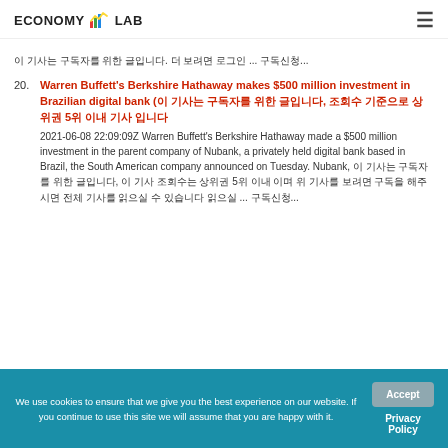ECONOMY LAB
이 기사는 구독자를 위한 글입니다. 더 보려면 로그인 ... 구독신청...
20. Warren Buffett's Berkshire Hathaway makes $500 million investment in Brazilian digital bank (이 기사는 구독자를 위한 글입니다, 조회수 기준으로 상위권 5위 이내 기사 입니다 2021-06-08 22:09:09Z Warren Buffett's Berkshire Hathaway made a $500 million investment in the parent company of Nubank, a privately held digital bank based in Brazil, the South American company announced on Tuesday. Nubank, 이 기사는 구독자를 위한 글입니다, 이 기사 조회수는 상위권 5위 이내 이며 위 기사를 보려면 구독을 해주시면 전체 기사를 읽으실 수 있습니다 읽으실 ... 구독신청...)
We use cookies to ensure that we give you the best experience on our website. If you continue to use this site we will assume that you are happy with it.